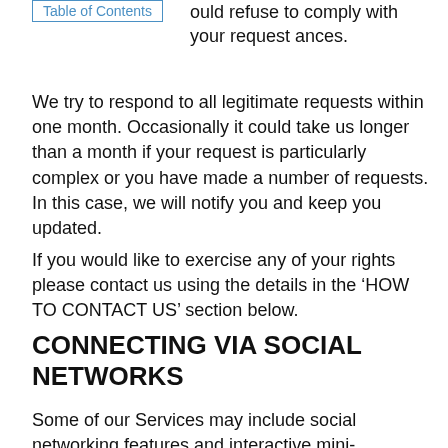Table of Contents
ould refuse to comply with your request ances.
We try to respond to all legitimate requests within one month. Occasionally it could take us longer than a month if your request is particularly complex or you have made a number of requests. In this case, we will notify you and keep you updated.
If you would like to exercise any of your rights please contact us using the details in the ‘HOW TO CONTACT US’ section below.
CONNECTING VIA SOCIAL NETWORKS
Some of our Services may include social networking features and interactive mini-programs. Additionally, you may choose to use your own social networking logins from, for example, LinkedIn®, to log into some of our Services. If you choose to connect using a social networking or similar service, we may receive and store